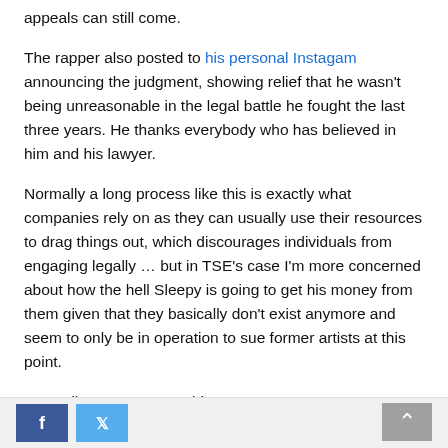appeals can still come.
The rapper also posted to his personal Instagam announcing the judgment, showing relief that he wasn't being unreasonable in the legal battle he fought the last three years. He thanks everybody who has believed in him and his lawyer.
Normally a long process like this is exactly what companies rely on as they can usually use their resources to drag things out, which discourages individuals from engaging legally … but in TSE's case I'm more concerned about how the hell Sleepy is going to get his money from them given that they basically don't exist anymore and seem to only be in operation to sue former artists at this point.
Regardless, congrats to him.
Facebook share button, Twitter share button, Scroll to top button